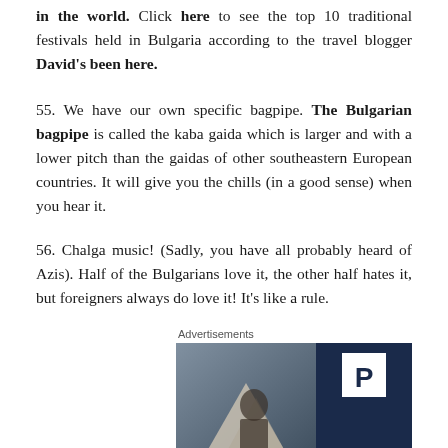in the world. Click here to see the top 10 traditional festivals held in Bulgaria according to the travel blogger David's been here.
55. We have our own specific bagpipe. The Bulgarian bagpipe is called the kaba gaida which is larger and with a lower pitch than the gaidas of other southeastern European countries. It will give you the chills (in a good sense) when you hear it.
56. Chalga music! (Sadly, you have all probably heard of Azis). Half of the Bulgarians love it, the other half hates it, but foreigners always do love it! It's like a rule.
Advertisements
[Figure (other): Advertisement banner with a dark navy background, a letter P logo badge on the right side, a blurred photo on the left side showing a figure with triangular shapes, and WORDPRESS text partially visible at the bottom.]